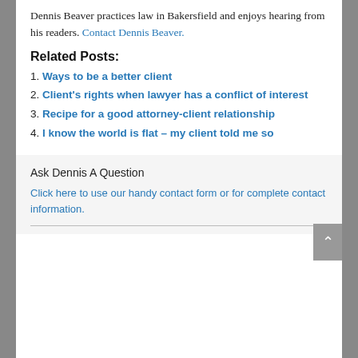Dennis Beaver practices law in Bakersfield and enjoys hearing from his readers. Contact Dennis Beaver.
Related Posts:
1. Ways to be a better client
2. Client's rights when lawyer has a conflict of interest
3. Recipe for a good attorney-client relationship
4. I know the world is flat – my client told me so
Ask Dennis A Question
Click here to use our handy contact form or for complete contact information.